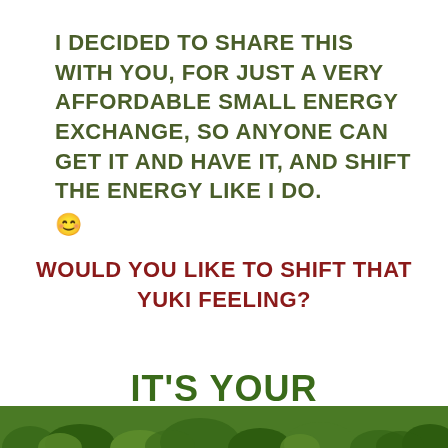I DECIDED TO SHARE THIS WITH YOU, FOR JUST A VERY AFFORDABLE SMALL ENERGY EXCHANGE, SO ANYONE CAN GET IT AND HAVE IT, AND SHIFT THE ENERGY LIKE I DO. 😊
WOULD YOU LIKE TO SHIFT THAT YUKI FEELING?
IT'S YOUR
[Figure (photo): Leaves/plants background image at bottom of page]